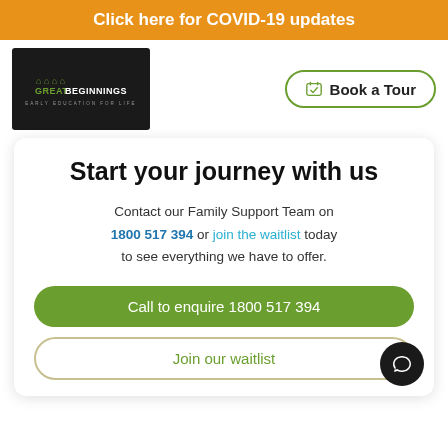Click here for COVID-19 updates
[Figure (logo): Great Beginnings Early Education For Life logo on dark background]
[Figure (other): Book a Tour button with calendar icon]
Start your journey with us
Contact our Family Support Team on 1800 517 394 or join the waitlist today to see everything we have to offer.
Call to enquire 1800 517 394
Join our waitlist